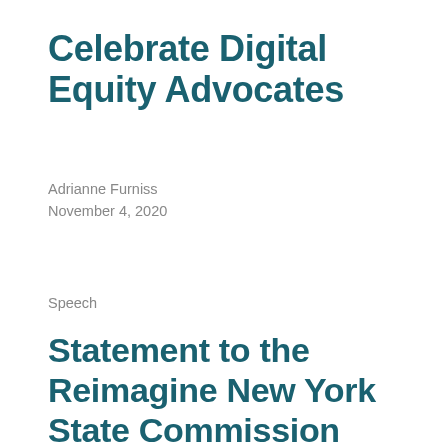Celebrate Digital Equity Advocates
Adrianne Furniss
November 4, 2020
Speech
Statement to the Reimagine New York State Commission